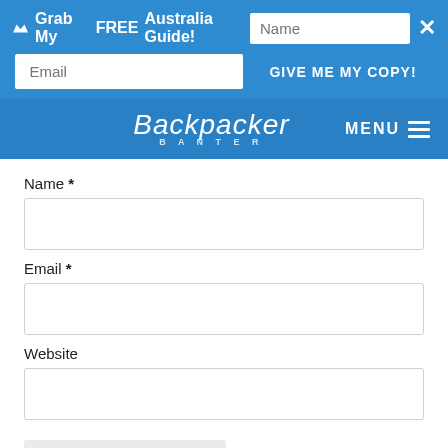[Figure (screenshot): Blue promotional banner with crown icon, text 'Grab My FREE Australia Guide!', Name input field, close button, Email input field, and 'GIVE ME MY COPY!' button]
[Figure (screenshot): Blue navigation bar with Backpacker Banter script logo and MENU hamburger icon]
Name *
Email *
Website
POST COMMENT